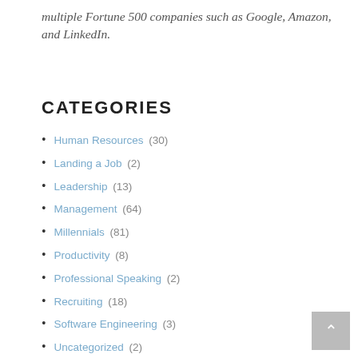multiple Fortune 500 companies such as Google, Amazon, and LinkedIn.
CATEGORIES
Human Resources (30)
Landing a Job (2)
Leadership (13)
Management (64)
Millennials (81)
Productivity (8)
Professional Speaking (2)
Recruiting (18)
Software Engineering (3)
Uncategorized (2)
Workplace Conflict (4)